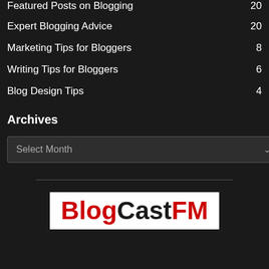Featured Posts on Blogging 20
Expert Blogging Advice 20
Marketing Tips for Bloggers 8
Writing Tips for Bloggers 6
Blog Design Tips 4
Archives
Select Month
[Figure (logo): BlogCastFM logo — 'Blog' in red, 'CastFM' in black on white background]